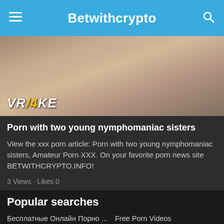Betwithcrypto
[Figure (photo): Adult content image with VR/4K logo overlay at bottom left]
Porn with two young nymphomaniac sisters
View the xxx porn article: Porn with two young nymphomaniac sisters, Amateur Porn XXX. On your favorite porn news site BETWITHCRYPTO.INFO!
3 Views · Likes 0
Popular searches
Бесплатные Онлайн Порно ...
Free Porn Videos
Porn Xxx Videos
Porn Videos Tube
XXX Cartoon Porn
Porno Videolar
Free Porn Vide...
Free Porn Videos
PORN VIDEOS
Free Porn
Porn Videos
Porn Videos
Xxx Porn Videos
Free Asia Porn Vid...